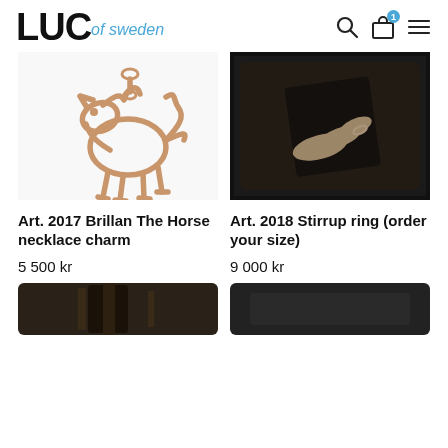LUC of sweden
[Figure (photo): Gold horse charm pendant necklace on white background]
[Figure (photo): Hand wearing a thin ring holding a dark leather item, ring detail close-up]
Art. 2017 Brillan The Horse necklace charm
5 500 kr
Art. 2018 Stirrup ring (order your size)
9 000 kr
[Figure (photo): Bottom left product image (partially visible)]
[Figure (photo): Bottom right product image (partially visible, dark background)]